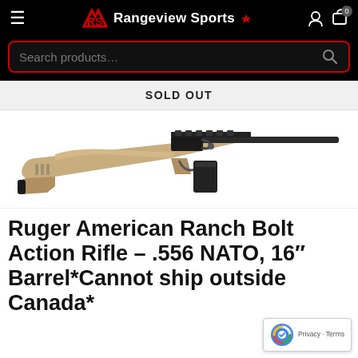[Figure (screenshot): Rangeview Sports website header with hamburger menu, RS logo, search bar with red border, user icon, and cart icon]
SOLD OUT
[Figure (photo): Ruger American Ranch Bolt Action Rifle with tan/FDE synthetic stock and dark barrel on white background]
Ruger American Ranch Bolt Action Rifle – .556 NATO, 16″ Barrel*Cannot ship outside Canada*